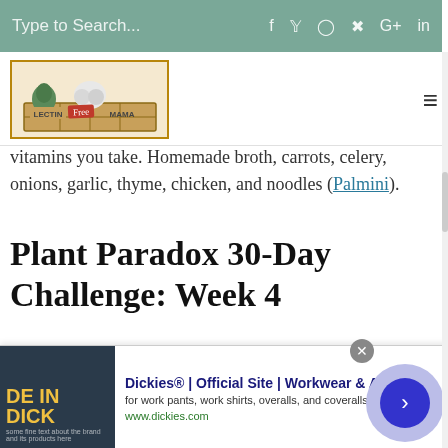Type to Search...
[Figure (logo): Lectin Free Mama logo — wooden crate with vegetables, text reads LECTIN Free MAMA]
vitamins you take. Homemade broth, carrots, celery, onions, garlic, thyme, chicken, and noodles (Palmini).
Plant Paradox 30-Day Challenge: Week 4
Unfortunately, I don't have any new phase 3 meals to document for this portion of the challenge. I chose to
[Figure (screenshot): Advertisement banner: Dickies Official Site — Workwear & Apparel. Image shows DE IN DICK text with dark background. Ad text: for work pants, work shirts, overalls, and coveralls. www.dickies.com. Arrow button on right.]